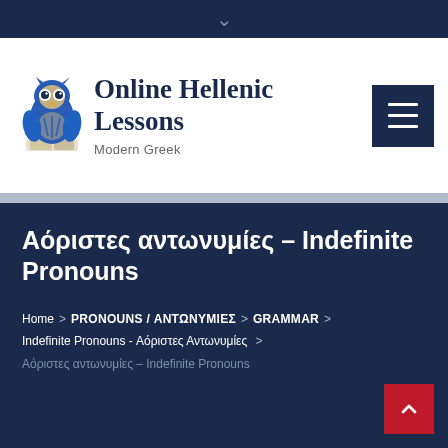[Figure (logo): Online Hellenic Lessons website header with owl logo and site name]
Αόριστες αντωνυμίες – Indefinite Pronouns
Home > PRONOUNS / ΑΝΤΩΝΥΜΙΕΣ > GRAMMAR > Indefinite Pronouns - Αόριστες Αντωνυμίες > Αόριστες αντωνυμίες – Indefinite Pronouns